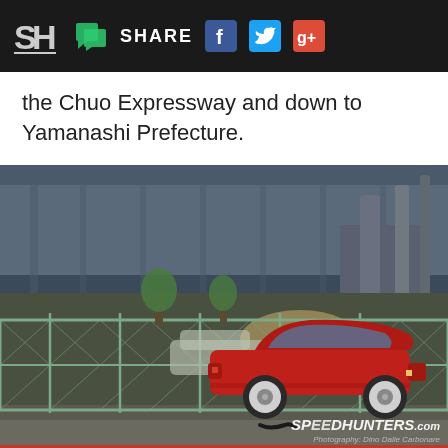SH | [comment icon] SHARE [Facebook icon] [Twitter icon] [Google+ icon]
the Chuo Expressway and down to Yamanashi Prefecture.
[Figure (photo): A red sports car (Ferrari) parked under an elevated expressway in Japan, behind a chain-link fence. Urban setting with trees, buildings, and pipes visible. Speedhunters.com watermark in bottom right.]